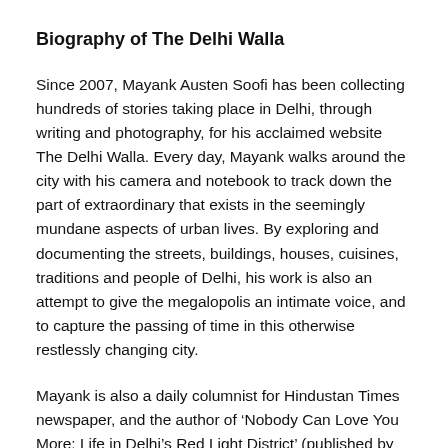Biography of The Delhi Walla
Since 2007, Mayank Austen Soofi has been collecting hundreds of stories taking place in Delhi, through writing and photography, for his acclaimed website The Delhi Walla. Every day, Mayank walks around the city with his camera and notebook to track down the part of extraordinary that exists in the seemingly mundane aspects of urban lives. By exploring and documenting the streets, buildings, houses, cuisines, traditions and people of Delhi, his work is also an attempt to give the megalopolis an intimate voice, and to capture the passing of time in this otherwise restlessly changing city.
Mayank is also a daily columnist for Hindustan Times newspaper, and the author of ‘Nobody Can Love You More: Life in Delhi’s Red Light District’ (published by Penguin) and the four-volume ‘The Delhi Walla’ guidebooks